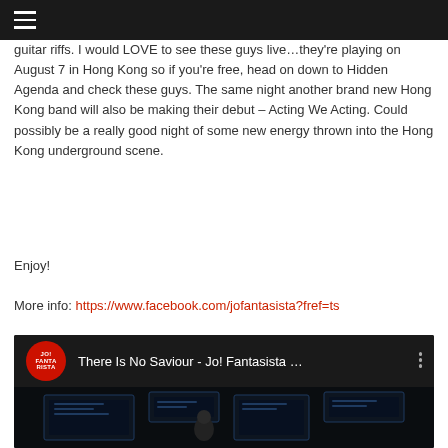Navigation menu bar
guitar riffs. I would LOVE to see these guys live…they're playing on August 7 in Hong Kong so if you're free, head on down to Hidden Agenda and check these guys. The same night another brand new Hong Kong band will also be making their debut – Acting We Acting. Could possibly be a really good night of some new energy thrown into the Hong Kong underground scene.
Enjoy!
More info: https://www.facebook.com/jofantasista?fref=ts
[Figure (screenshot): Embedded YouTube video player showing 'There Is No Saviour - Jo! Fantasista …' with a red circular channel logo and dark video thumbnail showing a person in a dark scene with screen/monitor graphics]